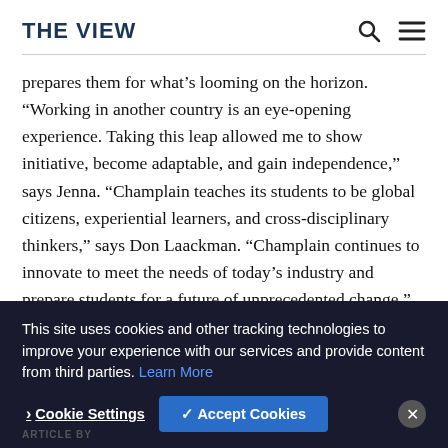THE VIEW
prepares them for what’s looming on the horizon. “Working in another country is an eye-opening experience. Taking this leap allowed me to show initiative, become adaptable, and gain independence,” says Jenna. “Champlain teaches its students to be global citizens, experiential learners, and cross-disciplinary thinkers,” says Don Laackman. “Champlain continues to innovate to meet the needs of today’s industry and prepare students for a future of unprecedented change.” Nowhere is this more evident than in this
This site uses cookies and other tracking technologies to improve your experience with our services and provide content from third parties. Learn More
ARTICLE BY